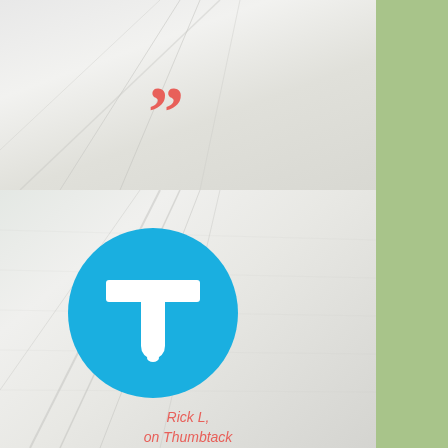[Figure (illustration): Light gray/white room ceiling photo background — top half]
”
[Figure (logo): Thumbtack logo — blue circle with white T/thumbtack icon]
[Figure (illustration): Light gray/white room ceiling photo background — bottom half]
Rick L,
on Thumbtack